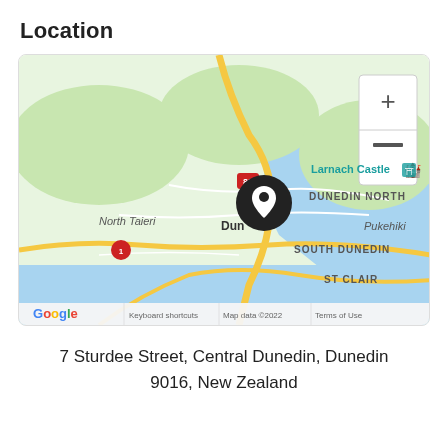Location
[Figure (map): Google Maps screenshot showing Dunedin, New Zealand. The map shows North Taieri to the northwest, Dunedin North, South Dunedin, St Clair, Pukehiki to the east, Larnach Castle to the northeast, and Port Chalmers to the north. A black location pin marker is placed in central Dunedin. Zoom in/out controls are visible in the top right corner. The bottom bar shows Google logo, Keyboard shortcuts, Map data ©2022, and Terms of Use.]
7 Sturdee Street, Central Dunedin, Dunedin 9016, New Zealand